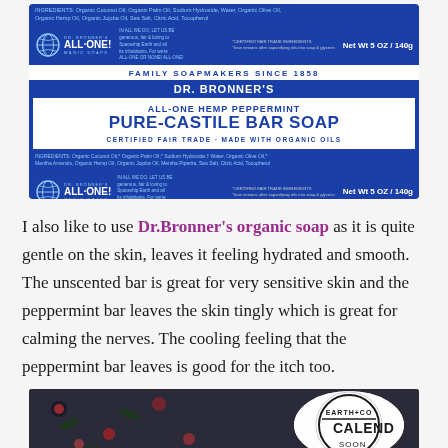[Figure (photo): Dr. Bronner's All-One Hemp Peppermint Pure-Castile Bar Soap product packaging showing blue box with white label, certified fair trade, made with organic oils, net wt 5oz/140g]
I also like to use Dr.Bronner's organic soap as it is quite gentle on the skin, leaves it feeling hydrated and smooth. The unscented bar is great for very sensitive skin and the peppermint bar leaves the skin tingly which is great for calming the nerves. The cooling feeling that the peppermint bar leaves is good for the itch too.
[Figure (photo): Partial view of Earth+Co Calendula product tin against dark floral patterned fabric background, text partially visible reading EARTH+CO CALEND... SOON]